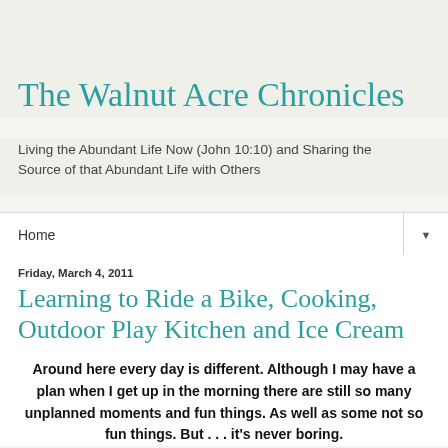The Walnut Acre Chronicles
Living the Abundant Life Now (John 10:10) and Sharing the Source of that Abundant Life with Others
Home
Friday, March 4, 2011
Learning to Ride a Bike, Cooking, Outdoor Play Kitchen and Ice Cream
Around here every day is different. Although I may have a plan when I get up in the morning there are still so many unplanned moments and fun things. As well as some not so fun things. But . . . it's never boring.